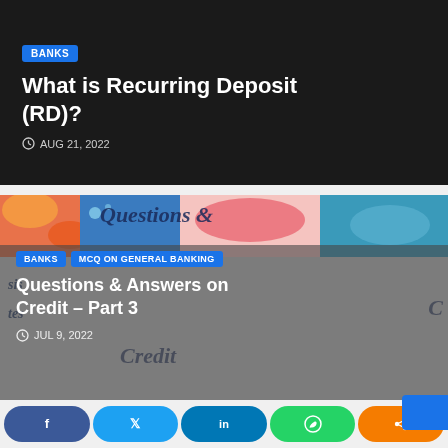BANKS
What is Recurring Deposit (RD)?
AUG 21, 2022
[Figure (illustration): Colorful illustrated banner with 'Questions & Answers on Credit' text overlaid]
BANKS  MCQ ON GENERAL BANKING
Questions & Answers on Credit – Part 3
JUL 9, 2022
[Figure (infographic): Social media share bar with Facebook, Twitter, LinkedIn, WhatsApp, and share icons]